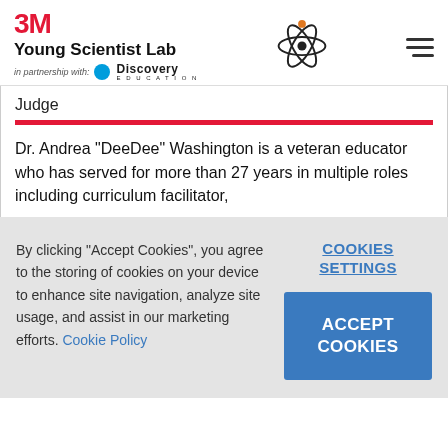3M Young Scientist Lab — in partnership with Discovery Education
Judge
Dr. Andrea "DeeDee" Washington is a veteran educator who has served for more than 27 years in multiple roles including curriculum facilitator,
By clicking "Accept Cookies", you agree to the storing of cookies on your device to enhance site navigation, analyze site usage, and assist in our marketing efforts. Cookie Policy
COOKIES SETTINGS
ACCEPT COOKIES